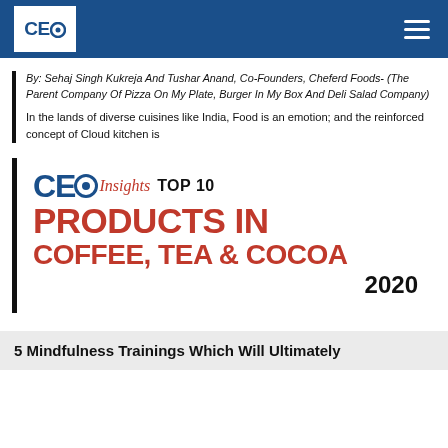CEO Insights
By: Sehaj Singh Kukreja And Tushar Anand, Co-Founders, Cheferd Foods- (The Parent Company Of Pizza On My Plate, Burger In My Box And Deli Salad Company)
In the lands of diverse cuisines like India, Food is an emotion; and the reinforced concept of Cloud kitchen is
[Figure (logo): CEO Insights TOP 10 PRODUCTS IN COFFEE, TEA & COCOA 2020 award badge/logo]
5 Mindfulness Trainings Which Will Ultimately